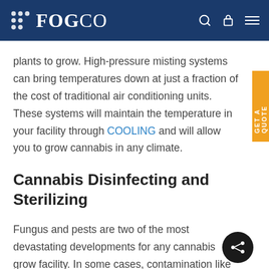FOGCO
plants to grow. High-pressure misting systems can bring temperatures down at just a fraction of the cost of traditional air conditioning units. These systems will maintain the temperature in your facility through COOLING and will allow you to grow cannabis in any climate.
Cannabis Disinfecting and Sterilizing
Fungus and pests are two of the most devastating developments for any cannabis grow facility. In some cases, contamination like this can result in a product that is not